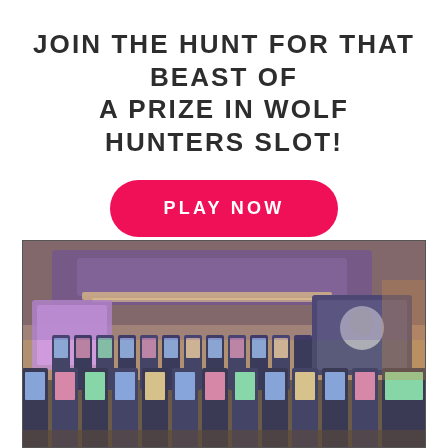JOIN THE HUNT FOR THAT BEAST OF A PRIZE IN WOLF HUNTERS SLOT!
PLAY NOW
[Figure (photo): Interior of a casino floor with rows of slot machines, purple and warm accent lighting, large overhead panels with ceiling lights, and digital screens on the wall.]